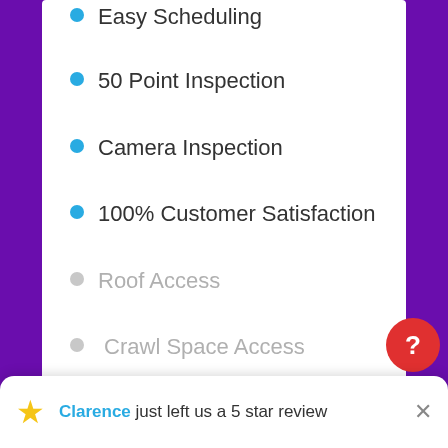Easy Scheduling
50 Point Inspection
Camera Inspection
100% Customer Satisfaction
Roof Access
Crawl Space Access
Basement
Specialty Tools
Removal of siding, chase covers, or wall coverings
Clarence just left us a 5 star review